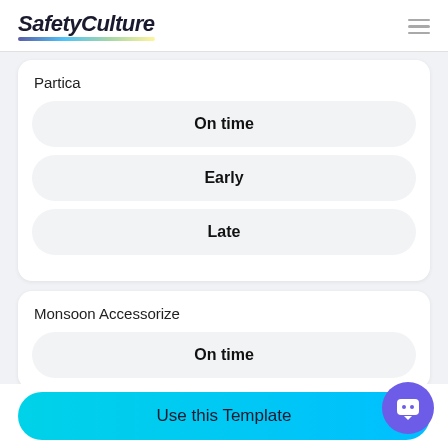SafetyCulture
Partica
On time
Early
Late
Monsoon Accessorize
On time
Use this Template